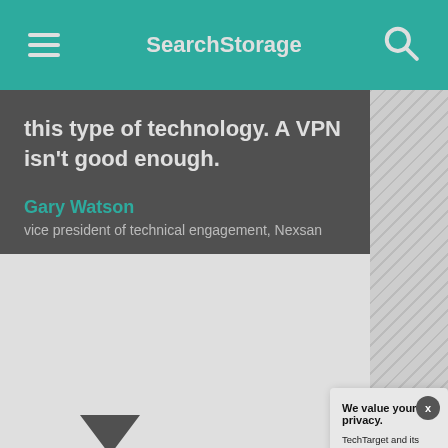SearchStorage
this type of technology. A VPN isn't good enough.
Gary Watson
vice president of technical engagement, Nexsan
"Our position is t... filers. People ne... [virtual private ne... said.
Nexsan's Unity A... or NAS interface... out management... flight are native t...
We value your privacy.
TechTarget and its partners employ cookies to improve your experience on our site, to analyze traffic and performance, and to serve personalized content and advertising that are relevant to your professional interests. You can manage your settings at any time. Please view our Privacy Policy for more information
OK
Settings